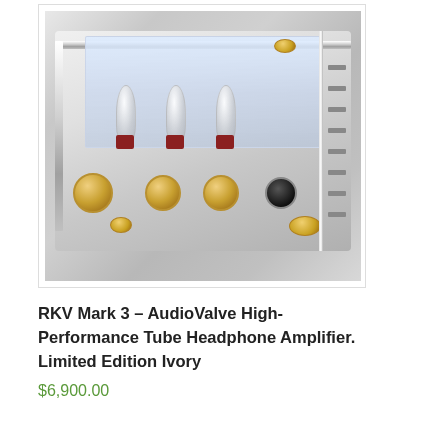[Figure (photo): Close-up photo of an AudioValve RKV Mark 3 tube headphone amplifier in ivory/white with gold accents and knobs, vacuum tubes visible through glass top, gold feet, ventilation slots on the right side]
RKV Mark 3 – AudioValve High-Performance Tube Headphone Amplifier. Limited Edition Ivory
$6,900.00